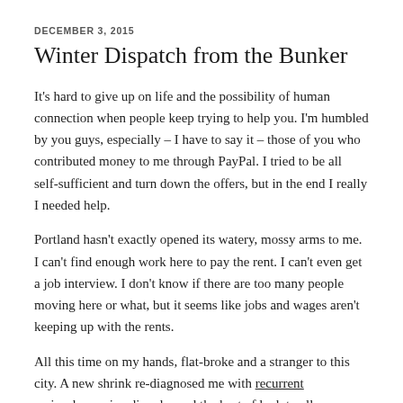DECEMBER 3, 2015
Winter Dispatch from the Bunker
It's hard to give up on life and the possibility of human connection when people keep trying to help you. I'm humbled by you guys, especially – I have to say it – those of you who contributed money to me through PayPal. I tried to be all self-sufficient and turn down the offers, but in the end I really I needed help.
Portland hasn't exactly opened its watery, mossy arms to me. I can't find enough work here to pay the rent. I can't even get a job interview. I don't know if there are too many people moving here or what, but it seems like jobs and wages aren't keeping up with the rents.
All this time on my hands, flat-broke and a stranger to this city. A new shrink re-diagnosed me with recurrent major depressive disorder and the best of luck to all…